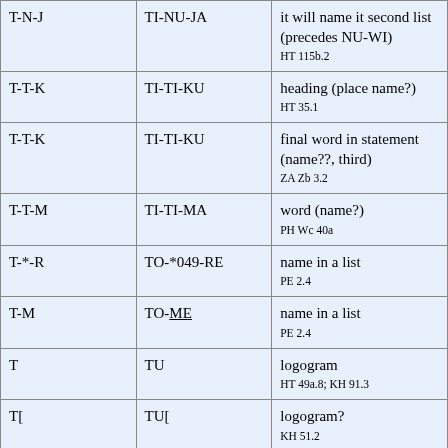| T-N-J | TI-NU-JA | it will name it second list (precedes NU-WI)
HT 115b.2 |
| T-T-K | TI-TI-KU | heading (place name?)
HT 35.1 |
| T-T-K | TI-TI-KU | final word in statement (name??, third)
ZA Zb 3.2 |
| T-T-M | TI-TI-MA | word (name?)
PH Wc 40a |
| T-*-R | TO-*049-RE | name in a list
PE 2.4 |
| T-M | TO-ME | name in a list
PE 2.4 |
| T | TU | logogram
HT 49a.8; KH 91.3 |
| T[ | TU[ | logogram?
KH 51.2 |
| T-[ | TU-[ | name in a list
KH 2.1; PH(?) |